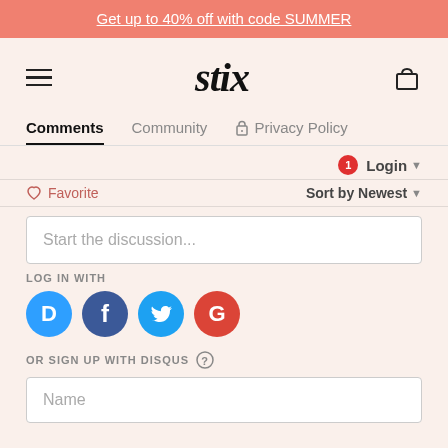Get up to 40% off with code SUMMER
[Figure (logo): Stix brand logo with hamburger menu and cart icon]
Comments  Community  Privacy Policy
Login
Favorite  Sort by Newest
Start the discussion...
LOG IN WITH
[Figure (infographic): Social login icons: Disqus (D), Facebook (f), Twitter bird, Google (G)]
OR SIGN UP WITH DISQUS
Name